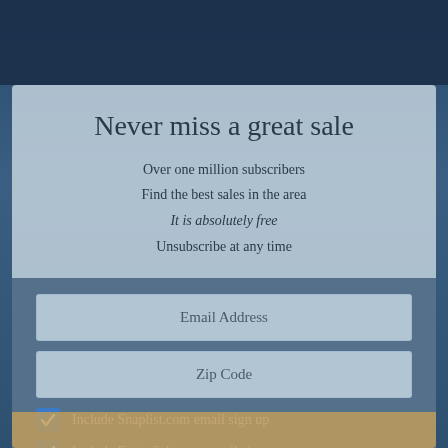Never miss a great sale
Over one million subscribers
Find the best sales in the area
It is absolutely free
Unsubscribe at any time
Email Address
Zip Code
Include Snaplist.com email sign up
Include EstateSales.org email sign up